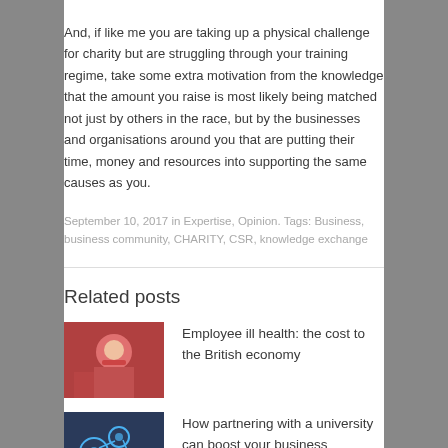And, if like me you are taking up a physical challenge for charity but are struggling through your training regime, take some extra motivation from the knowledge that the amount you raise is most likely being matched not just by others in the race, but by the businesses and organisations around you that are putting their time, money and resources into supporting the same causes as you.
September 10, 2017 in Expertise, Opinion. Tags: Business, business community, CHARITY, CSR, knowledge exchange
Related posts
Employee ill health: the cost to the British economy
How partnering with a university can boost your business